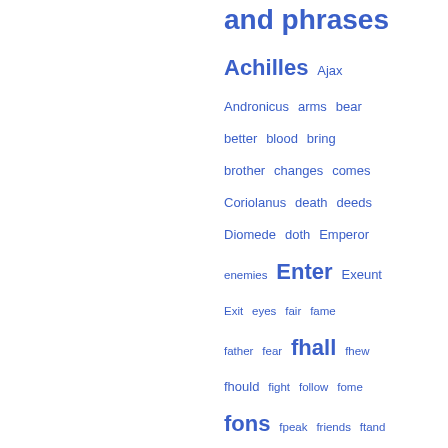and phrases
[Figure (other): Tag cloud of words and phrases from a Shakespeare-related index, displayed in varying font sizes in blue, including: Achilles, Ajax, Andronicus, arms, bear, better, blood, bring, brother, changes, comes, Coriolanus, death, deeds, Diomede, doth, Emperor, enemies, Enter, Exeunt, Exit, eyes, fair, fame, father, fear, fhall, fhew, fhould, fight, follow, fome, fons, fpeak, friends, ftand, fuch, fweet, fword, give, gods, Greek, hand, hath, head, hear, heart, heaven, Hector, himlelf, hold, honour, I'll, keep]